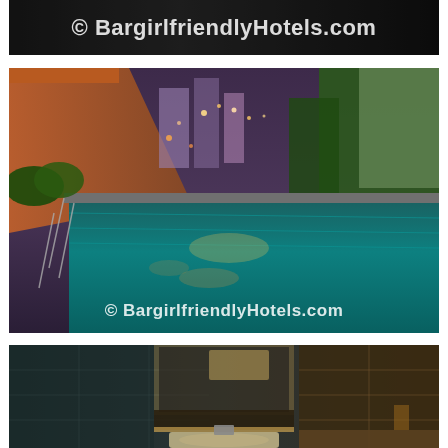[Figure (photo): Dark banner image with white watermark text reading '© BargirlfriendlyHotels.com' on a dark background]
[Figure (photo): Night photograph of a luxury hotel rooftop swimming pool in Bangkok with city skyline lights reflected in the turquoise water, tropical plants on the sides, with watermark '© BargirlfriendlyHotels.com']
[Figure (photo): Interior photo of a dark luxury hotel bathroom with dark tile walls, illuminated vanity mirror, sink counter, and bathtub visible]